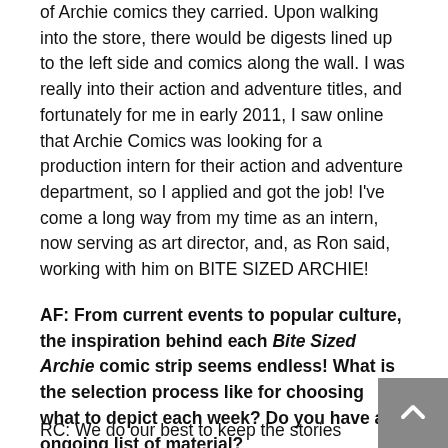of Archie comics they carried. Upon walking into the store, there would be digests lined up to the left side and comics along the wall. I was really into their action and adventure titles, and fortunately for me in early 2011, I saw online that Archie Comics was looking for a production intern for their action and adventure department, so I applied and got the job! I've come a long way from my time as an intern, now serving as art director, and, as Ron said, working with him on BITE SIZED ARCHIE!
AF: From current events to popular culture, the inspiration behind each Bite Sized Archie comic strip seems endless! What is the selection process like for choosing what to depict each week? Do you have an ongoing list of material?
RC: We do our best to keep the stories relevant